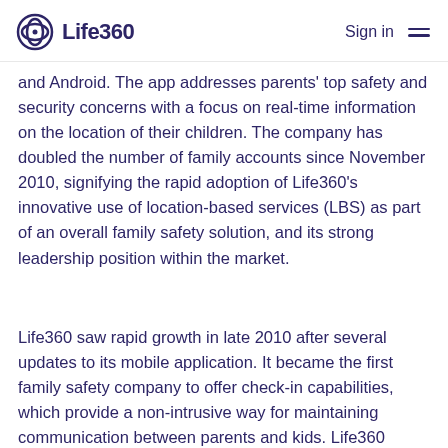Life360  Sign in
and Android. The app addresses parents' top safety and security concerns with a focus on real-time information on the location of their children. The company has doubled the number of family accounts since November 2010, signifying the rapid adoption of Life360’s innovative use of location-based services (LBS) as part of an overall family safety solution, and its strong leadership position within the market.
Life360 saw rapid growth in late 2010 after several updates to its mobile application. It became the first family safety company to offer check-in capabilities, which provide a non-intrusive way for maintaining communication between parents and kids. Life360 wanted kids to be comfortable with – and therefore more likely to use – a check-in function versus forcing